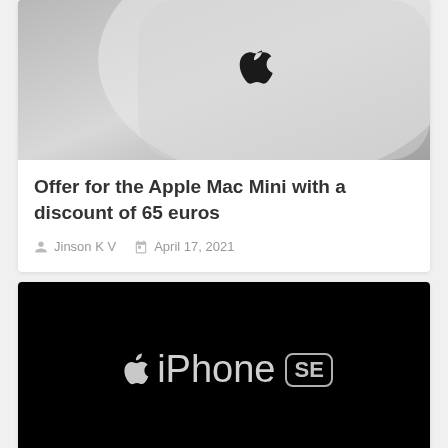[Figure (photo): Close-up photo of an Apple Mac Mini device showing the Apple logo on a white/silver surface]
Offer for the Apple Mac Mini with a discount of 65 euros
Jinson K V   April 17, 2021
[Figure (photo): Black background with Apple iPhone SE logo/branding text in gray/white]